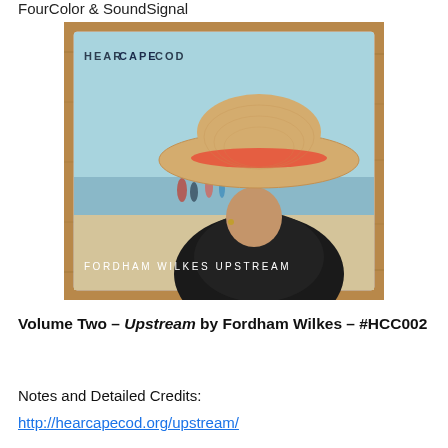FourColor & SoundSignal
[Figure (photo): Album cover of 'Fordham Wilkes – Upstream' from HearCapeCod. Shows the back of a person wearing a wide-brimmed straw hat with a red/orange band, standing on a beach with blurred figures in the background. Text on the cover reads 'HEARCAPECOD' and 'FORDHAM WILKES UPSTREAM'. The CD is resting on a wooden surface.]
Volume Two – Upstream by Fordham Wilkes – #HCC002
Notes and Detailed Credits:
http://hearcapecod.org/upstream/